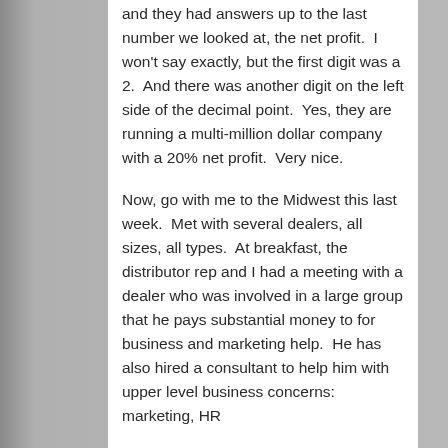and they had answers up to the last number we looked at, the net profit.  I won't say exactly, but the first digit was a 2.  And there was another digit on the left side of the decimal point.  Yes, they are running a multi-million dollar company with a 20% net profit.  Very nice.
Now, go with me to the Midwest this last week.  Met with several dealers, all sizes, all types.  At breakfast, the distributor rep and I had a meeting with a dealer who was involved in a large group that he pays substantial money to for business and marketing help.  He has also hired a consultant to help him with upper level business concerns: marketing, HR